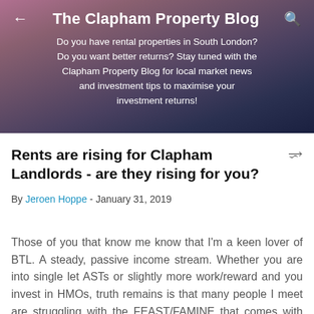The Clapham Property Blog
Do you have rental properties in South London? Do you want better returns? Stay tuned with the Clapham Property Blog for local market news and investment tips to maximise your investment returns!
Rents are rising for Clapham Landlords - are they rising for you?
By Jeroen Hoppe - January 31, 2019
Those of you that know me know that I'm a keen lover of BTL. A steady, passive income stream. Whether you are into single let ASTs or slightly more work/reward and you invest in HMOs, truth remains is that many people I meet are struggling with the FEAST/FAMINE that comes with building,